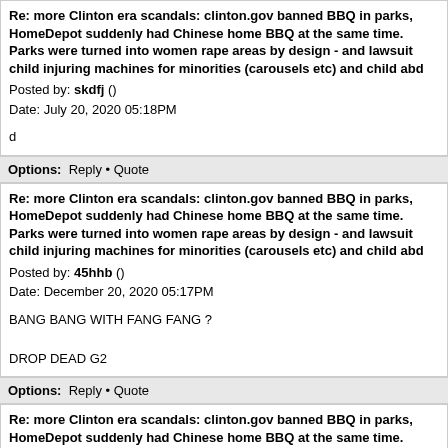Re: more Clinton era scandals: clinton.gov banned BBQ in parks, HomeDepot suddenly had Chinese home BBQ at the same time. Parks were turned into women rape areas by design - and lawsuit child injuring machines for minorities (carousels etc) and child abd
Posted by: skdfj ()
Date: July 20, 2020 05:18PM
d
Options: Reply • Quote
Re: more Clinton era scandals: clinton.gov banned BBQ in parks, HomeDepot suddenly had Chinese home BBQ at the same time. Parks were turned into women rape areas by design - and lawsuit child injuring machines for minorities (carousels etc) and child abd
Posted by: 45hhb ()
Date: December 20, 2020 05:17PM
BANG BANG WITH FANG FANG ?

DROP DEAD G2
Options: Reply • Quote
Re: more Clinton era scandals: clinton.gov banned BBQ in parks, HomeDepot suddenly had Chinese home BBQ at the same time. Parks were turned into women rape areas by design - and lawsuit child injuring machines for minorities (carousels etc) and child abd
Posted by: erftbbh ()
Date: December 24, 2020 05:07PM